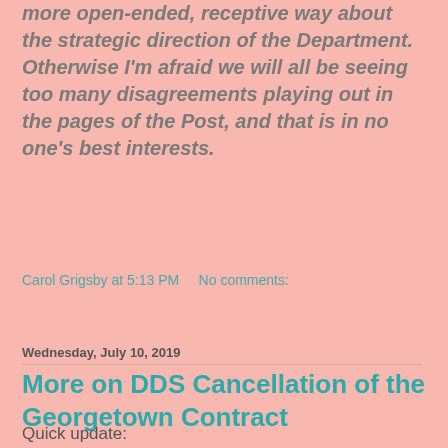more open-ended, receptive way about the strategic direction of the Department.  Otherwise I'm afraid we will all be seeing too many disagreements playing out in the pages of the Post, and that is in no one's best interests.
Carol Grigsby at 5:13 PM   No comments:
Share
Wednesday, July 10, 2019
More on DDS Cancellation of the Georgetown Contract
Quick update: